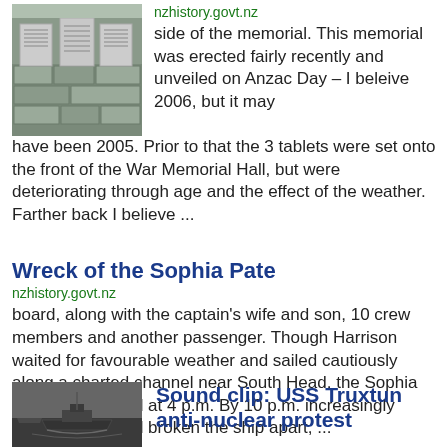[Figure (photo): Stone war memorial with inscribed tablets]
nzhistory.govt.nz
side of the memorial. This memorial was erected fairly recently and unveiled on Anzac Day – I beleive 2006, but it may have been 2005. Prior to that the 3 tablets were set onto the front of the War Memorial Hall, but were deteriorating through age and the effect of the weather. Farther back I believe ...
Wreck of the Sophia Pate
nzhistory.govt.nz
board, along with the captain's wife and son, 10 crew members and another passenger. Though Harrison waited for favourable weather and sailed cautiously along a charted channel near South Head, the Sophia Pate ran aground at 4 p.m. By 10 p.m. increasingly strong swells had broken the ship apart, ...
[Figure (photo): Black and white photo of USS Truxtun ship at sea]
Sound clip: USS Truxtun anti-nuclear protest